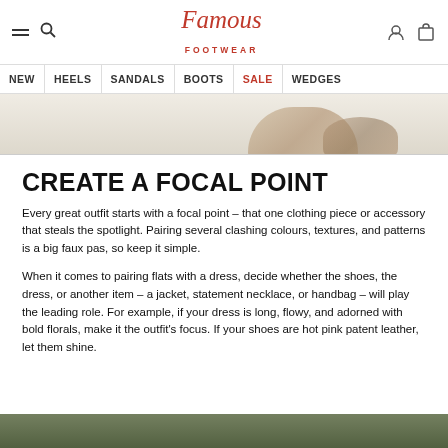Famous Footwear — navigation: NEW, HEELS, SANDALS, BOOTS, SALE, WEDGES
[Figure (photo): Cropped hero image showing shoes on a light sandy/white background]
CREATE A FOCAL POINT
Every great outfit starts with a focal point – that one clothing piece or accessory that steals the spotlight. Pairing several clashing colours, textures, and patterns is a big faux pas, so keep it simple.
When it comes to pairing flats with a dress, decide whether the shoes, the dress, or another item – a jacket, statement necklace, or handbag – will play the leading role. For example, if your dress is long, flowy, and adorned with bold florals, make it the outfit's focus. If your shoes are hot pink patent leather, let them shine.
[Figure (photo): Bottom strip of another image, showing green/outdoor setting with shoes]